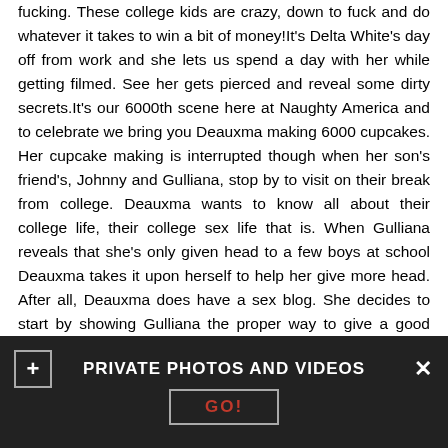fucking. These college kids are crazy, down to fuck and do whatever it takes to win a bit of money!It's Delta White's day off from work and she lets us spend a day with her while getting filmed. See her gets pierced and reveal some dirty secrets.It's our 6000th scene here at Naughty America and to celebrate we bring you Deauxma making 6000 cupcakes. Her cupcake making is interrupted though when her son's friend's, Johnny and Gulliana, stop by to visit on their break from college. Deauxma wants to know all about their college life, their college sex life that is. When Gulliana reveals that she's only given head to a few boys at school Deauxma takes it upon herself to help her give more head. After all, Deauxma does have a sex blog. She decides to start by showing Gulliana the proper way to give a good blowjob and she has Johnny stand in for Gulliana to practice on. When Gulliana doesn't get the technique right Deauxma jumps in and shows her. She's a very hands on instructor. The fun doesn't stop there. She
[Figure (screenshot): Dark banner overlay with a plus icon on the left, text 'PRIVATE PHOTOS AND VIDEOS' in the center, an X close button on the right, and a 'GO!' button below.]